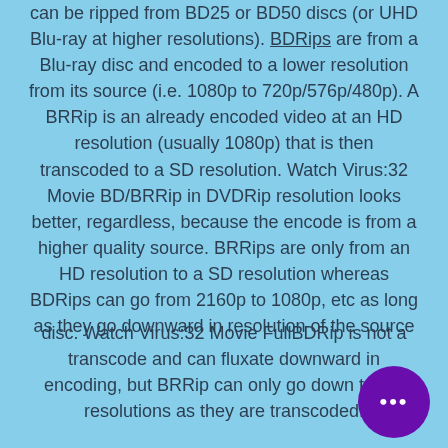can be ripped from BD25 or BD50 discs (or UHD Blu-ray at higher resolutions). BDRips are from a Blu-ray disc and encoded to a lower resolution from its source (i.e. 1080p to 720p/576p/480p). A BRRip is an already encoded video at an HD resolution (usually 1080p) that is then transcoded to a SD resolution. Watch Virus:32 Movie BD/BRRip in DVDRip resolution looks better, regardless, because the encode is from a higher quality source. BRRips are only from an HD resolution to a SD resolution whereas BDRips can go from 2160p to 1080p, etc as long as they go downward in resolution of the source
disc. Watch Virus:32 Movie FullBDRip is not a transcode and can fluxate downward in encoding, but BRRip can only go down to SD resolutions as they are transcoded.